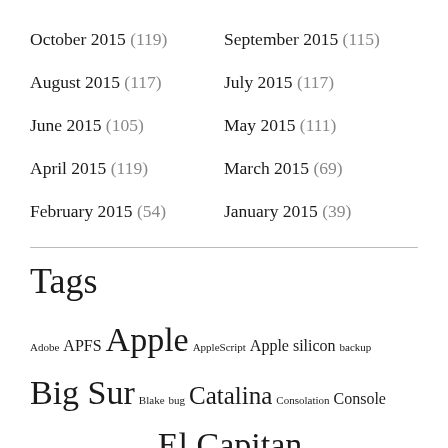October 2015 (119)
September 2015 (115)
August 2015 (117)
July 2015 (117)
June 2015 (105)
May 2015 (111)
April 2015 (119)
March 2015 (69)
February 2015 (54)
January 2015 (39)
Tags
Adobe APFS Apple AppleScript Apple silicon backup Big Sur Blake bug Catalina Consolation Console diagnosis Disk Utility Doré El Capitan extended attributes Finder firmware Gatekeeper Gérôme HFS+ High Sierra history history